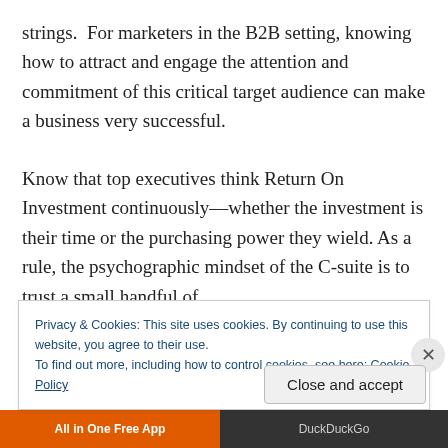strings.  For marketers in the B2B setting, knowing how to attract and engage the attention and commitment of this critical target audience can make a business very successful.
Know that top executives think Return On Investment continuously—whether the investment is their time or the purchasing power they wield. As a rule, the psychographic mindset of the C-suite is to trust a small handful of
Privacy & Cookies: This site uses cookies. By continuing to use this website, you agree to their use.
To find out more, including how to control cookies, see here: Cookie Policy
Close and accept
[Figure (other): Bottom browser bar with orange 'All in One Free App' section and dark DuckDuckGo section]